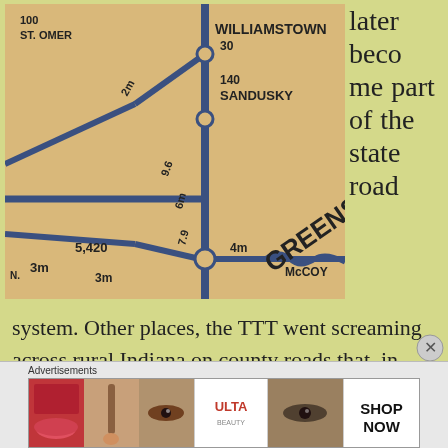[Figure (map): Vintage road map showing Greensburg, Indiana area with routes to Williamstown (30 miles), Sandusky (140 miles), St. Omer (2m), McCoy, distances marked 5,420, 3m, 4m, 6m, 9.6, 7.9]
later become part of the state road system. Other places, the TTT went screaming across rural Indiana on county roads that, in some circumstances, have been removed from maps.
Advertisements
[Figure (photo): Advertisement banner for ULTA beauty with makeup imagery and SHOP NOW call to action]